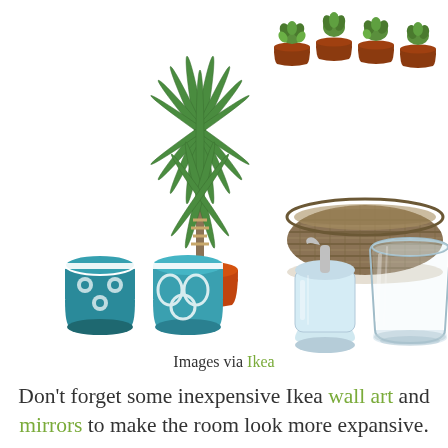[Figure (illustration): Collection of IKEA home decor items: a tall potted dracaena plant (center-left), four small succulent plants in terracotta pots (top-right), a woven seagrass bowl/tray (right), two teal patterned cups (left), a glass soap dispenser with chrome pump (center), and a clear glass tumbler (right). White background.]
Images via Ikea
Don't forget some inexpensive Ikea wall art and mirrors to make the room look more expansive.